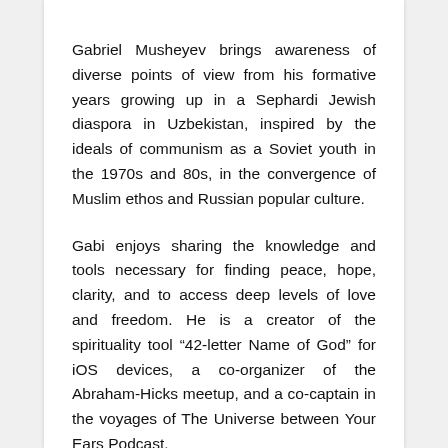Gabriel Musheyev brings awareness of diverse points of view from his formative years growing up in a Sephardi Jewish diaspora in Uzbekistan, inspired by the ideals of communism as a Soviet youth in the 1970s and 80s, in the convergence of Muslim ethos and Russian popular culture.
Gabi enjoys sharing the knowledge and tools necessary for finding peace, hope, clarity, and to access deep levels of love and freedom. He is a creator of the spirituality tool “42-letter Name of God” for iOS devices, a co-organizer of the Abraham-Hicks meetup, and a co-captain in the voyages of The Universe between Your Ears Podcast.